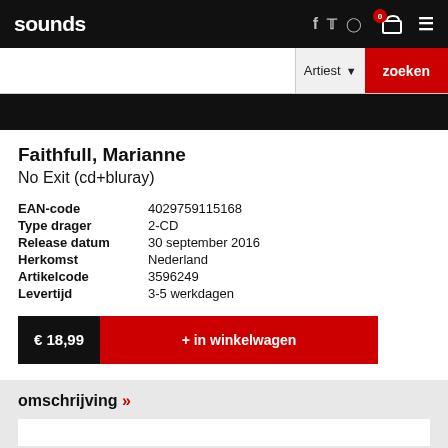sounds
Artiest   zoeken
[Figure (screenshot): Dark strip / product image background area]
Faithfull, Marianne
No Exit (cd+bluray)
| Label | Value |
| --- | --- |
| EAN-code | 4029759115168 |
| Type drager | 2-CD |
| Release datum | 30 september 2016 |
| Herkomst | Nederland |
| Artikelcode | 3596249 |
| Levertijd | 3-5 werkdagen |
€ 18,99  + in winkelwagen
omschrijving »
[Figure (screenshot): Bottom blu-ray disc image strip with DISC 2 - BLU-RAY label and Live at Béla Bartók National Concert Hall text]